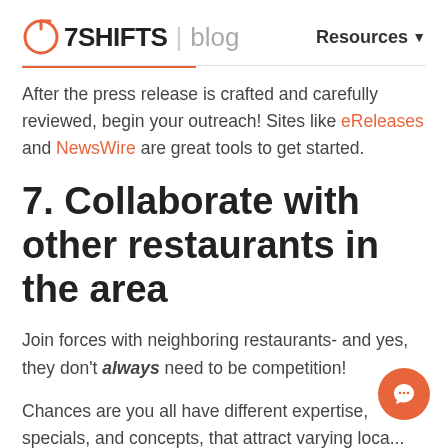7SHIFTS | blog   Resources
After the press release is crafted and carefully reviewed, begin your outreach! Sites like eReleases and NewsWire are great tools to get started.
7. Collaborate with other restaurants in the area
Join forces with neighboring restaurants- and yes, they don't always need to be competition!
Chances are you all have different expertise, specials, and concepts, that attract varying local...